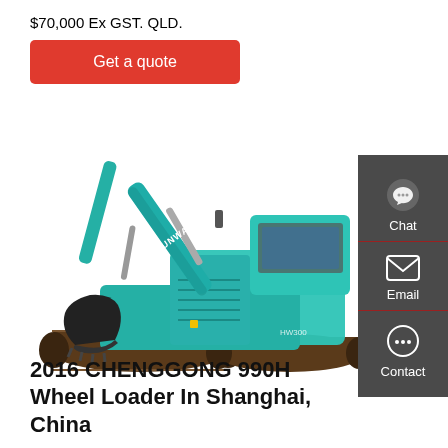$70,000 Ex GST. QLD.
Get a quote
[Figure (photo): Teal/turquoise Sunward crawler excavator on white background, brand name visible on boom arm]
Chat
Email
Contact
2016 CHENGGONG 990H Wheel Loader In Shanghai, China